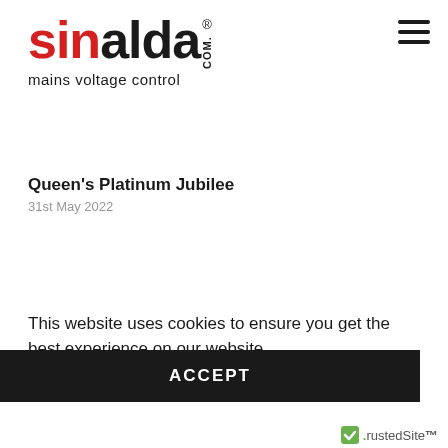sinalda.com mains voltage control
Queen's Platinum Jubilee
31st May 2022
This website uses cookies to ensure you get the best experience on our website.
Learn more
ACCEPT
[Figure (logo): TrustedSite badge logo with green checkmark icon and text '.trustedSite']